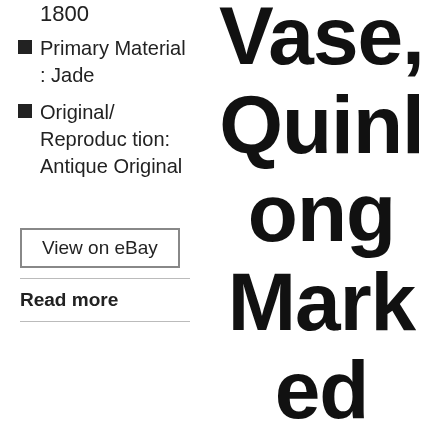1800
Primary Material : Jade
Original/Reproduction: Antique Original
View on eBay
Read more
Vase, Quinlong Marked Porcelain, Gilt Drago